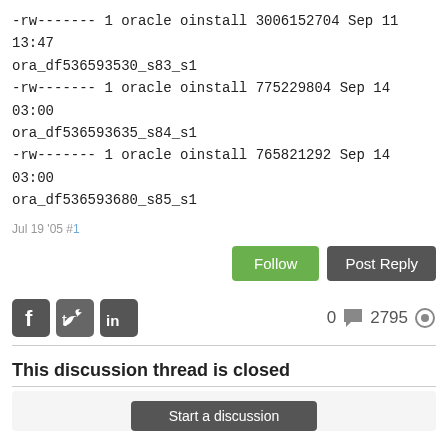-rw------- 1 oracle oinstall 3006152704 Sep 11 13:47 ora_df536593530_s83_s1
-rw------- 1 oracle oinstall 775229804 Sep 14 03:00 ora_df536593635_s84_s1
-rw------- 1 oracle oinstall 765821292 Sep 14 03:00 ora_df536593680_s85_s1
Jul 19 '05 #1
Follow   Post Reply
0  2795
This discussion thread is closed
Start a discussion